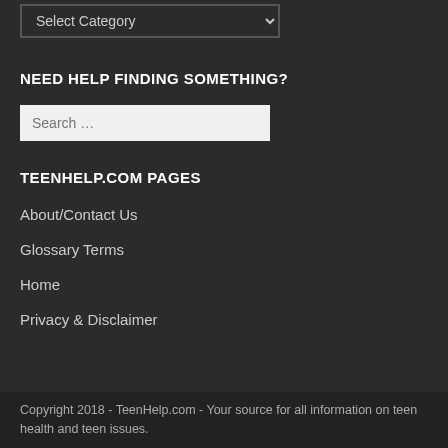NEED HELP FINDING SOMETHING?
Search …
TEENHELP.COM PAGES
About/Contact Us
Glossary Terms
Home
Privacy & Disclaimer
Copyright 2018 - TeenHelp.com - Your source for all information on teen health and teen issues.